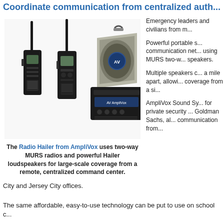Coordinate communication from centralized auth...
[Figure (photo): Two black handheld two-way MURS radios standing upright with antennas, and a large gray horn/hailer loudspeaker with AmpliVox logo, mounted on a black base unit.]
The Radio Hailer from AmpliVox uses two-way MURS radios and powerful Hailer loudspeakers for large-scale coverage from a remote, centralized command center.
Emergency leaders and civilians from m...
Powerful portable s... communication net... using MURS two-w... speakers.
Multiple speakers c... a mile apart, allowi... coverage from a si...
AmpliVox Sound Sy... for private security ... Goldman Sachs, al... communication from...
City and Jersey City offices.
The same affordable, easy-to-use technology can be put to use on school c...